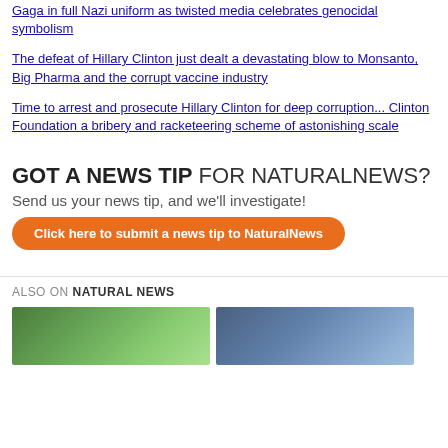Gaga in full Nazi uniform as twisted media celebrates genocidal symbolism
The defeat of Hillary Clinton just dealt a devastating blow to Monsanto, Big Pharma and the corrupt vaccine industry
Time to arrest and prosecute Hillary Clinton for deep corruption... Clinton Foundation a bribery and racketeering scheme of astonishing scale
[Figure (infographic): News tip banner: GOT A NEWS TIP FOR NATURALNEWS? Send us your news tip, and we'll investigate! Orange button: Click here to submit a news tip to NaturalNews]
ALSO ON NATURAL NEWS
[Figure (photo): Two thumbnail images side by side - left shows greenery/trees, right shows blue toned image]